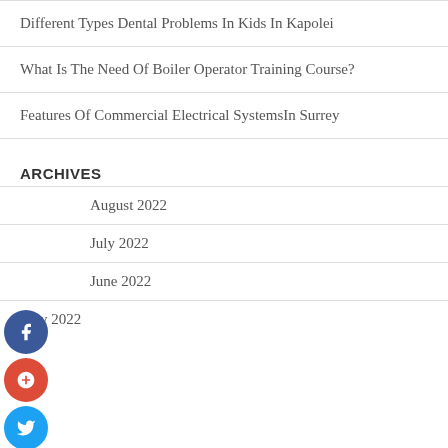Different Types Dental Problems In Kids In Kapolei
What Is The Need Of Boiler Operator Training Course?
Features Of Commercial Electrical SystemsIn Surrey
ARCHIVES
August 2022
July 2022
June 2022
May 2022